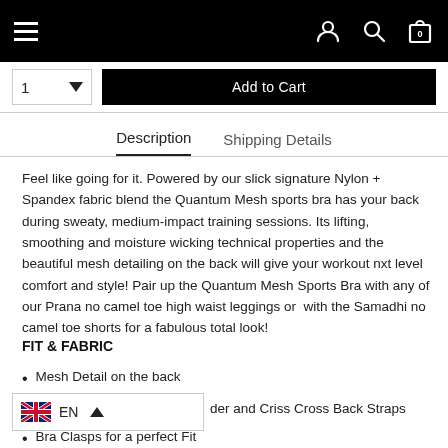Navigation bar with hamburger menu, user icon, search icon, and cart icon (0)
1  Add to Cart
Description  Shipping Details
Feel like going for it. Powered by our slick signature Nylon + Spandex fabric blend the Quantum Mesh sports bra has your back during sweaty, medium-impact training sessions. Its lifting, smoothing and moisture wicking technical properties and the beautiful mesh detailing on the back will give your workout nxt level comfort and style! Pair up the Quantum Mesh Sports Bra with any of our Prana no camel toe high waist leggings or  with the Samadhi no camel toe shorts for a fabulous total look!
FIT & FABRIC
Mesh Detail on the back
der and Criss Cross Back Straps
Bra Clasps for a perfect Fit